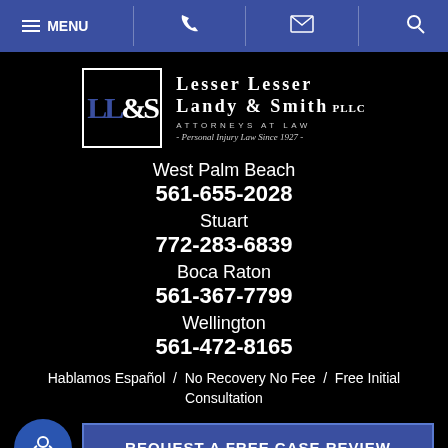MENU [phone] [email] [search]
[Figure (logo): Lesser Lesser Landy & Smith PLLC logo with LL&S monogram and firm name. Attorneys at Law. Personal Injury Law Since 1927.]
West Palm Beach
561-655-2028
Stuart
772-283-6839
Boca Raton
561-367-7799
Wellington
561-472-8165
Hablamos Español  /  No Recovery No Fee  /  Free Initial Consultation
REQUEST A FREE CASE REVIEW